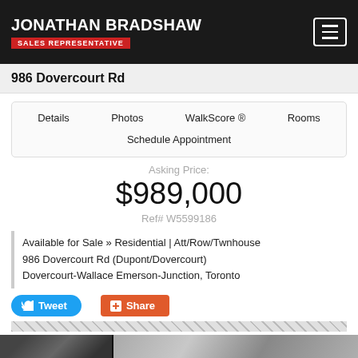JONATHAN BRADSHAW SALES REPRESENTATIVE
986 Dovercourt Rd
Details   Photos   WalkScore ®   Rooms   Schedule Appointment
Asking Price:
$989,000
Ref# W5599186
Available for Sale » Residential | Att/Row/Twnhouse 986 Dovercourt Rd (Dupont/Dovercourt) Dovercourt-Wallace Emerson-Junction, Toronto
[Figure (photo): Street and exterior photo strip at bottom of page]